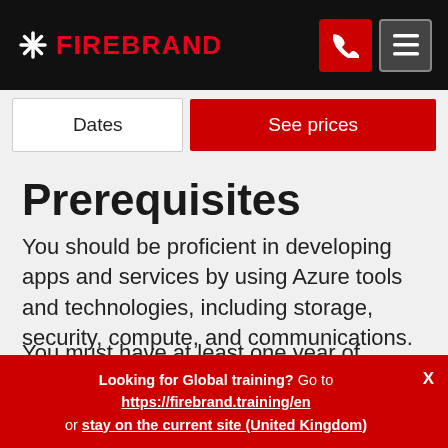FIREBRAND
Dates | See prices
Prerequisites
You should be proficient in developing apps and services by using Azure tools and technologies, including storage, security, compute, and communications.
You must have at least one year of experience developing scalable solutions through all phases of software development and be skilled in at least one
Looking for Global training? Go to https://firebrand.training/en or stay on the current site (United Kingdom)